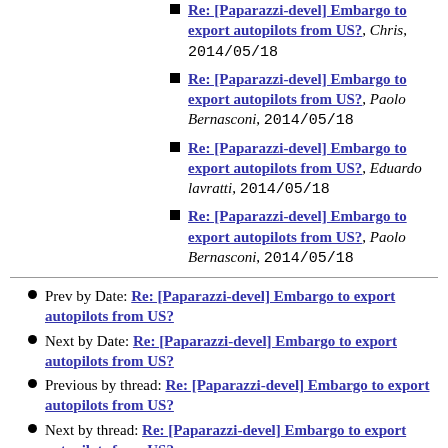Re: [Paparazzi-devel] Embargo to export autopilots from US?, Chris, 2014/05/18
Re: [Paparazzi-devel] Embargo to export autopilots from US?, Paolo Bernasconi, 2014/05/18
Re: [Paparazzi-devel] Embargo to export autopilots from US?, Eduardo lavratti, 2014/05/18
Re: [Paparazzi-devel] Embargo to export autopilots from US?, Paolo Bernasconi, 2014/05/18
Prev by Date: Re: [Paparazzi-devel] Embargo to export autopilots from US?
Next by Date: Re: [Paparazzi-devel] Embargo to export autopilots from US?
Previous by thread: Re: [Paparazzi-devel] Embargo to export autopilots from US?
Next by thread: Re: [Paparazzi-devel] Embargo to export autopilots from US?
Index(es):
Date
Thread